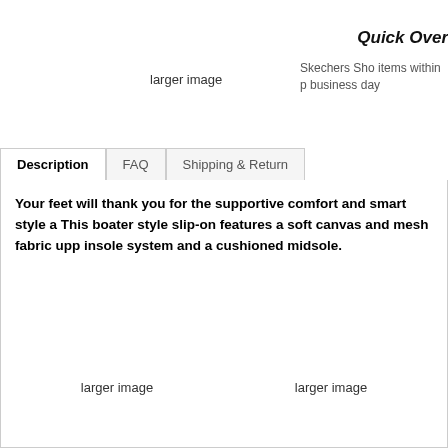larger image
Quick Over
Skechers Sho items within p business day
Description | FAQ | Shipping & Return
Your feet will thank you for the supportive comfort and smart style a This boater style slip-on features a soft canvas and mesh fabric upp insole system and a cushioned midsole.
larger image
larger image